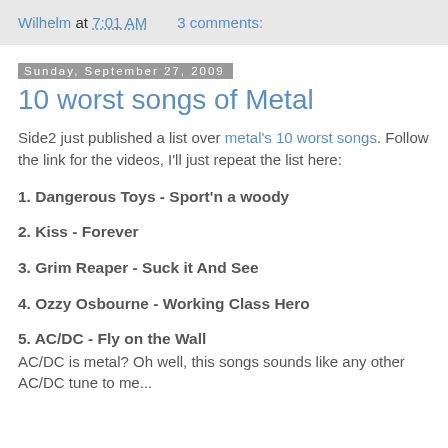Wilhelm at 7:01 AM   3 comments:
Sunday, September 27, 2009
10 worst songs of Metal
Side2 just published a list over metal's 10 worst songs. Follow the link for the videos, I'll just repeat the list here:
1. Dangerous Toys - Sport'n a woody
2. Kiss - Forever
3. Grim Reaper - Suck it And See
4. Ozzy Osbourne - Working Class Hero
5. AC/DC - Fly on the Wall
AC/DC is metal? Oh well, this songs sounds like any other AC/DC tune to me...